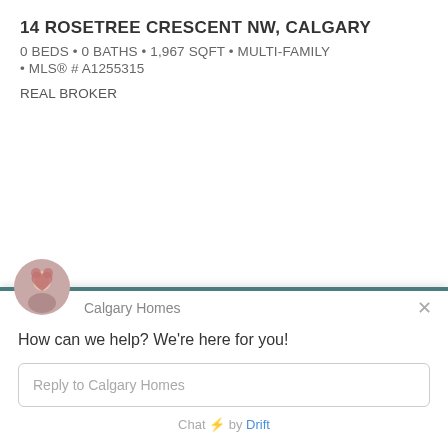14 ROSETREE CRESCENT NW, CALGARY
0 BEDS • 0 BATHS • 1,967 SQFT • MULTI-FAMILY
• MLS® # A1255315
REAL BROKER
[Figure (screenshot): Live chat widget overlay from 'Calgary Homes' powered by Drift. Shows avatar, chat header bar in teal, greeting message 'How can we help? We're here for you!', reply input field, and 'Chat by Drift' branding.]